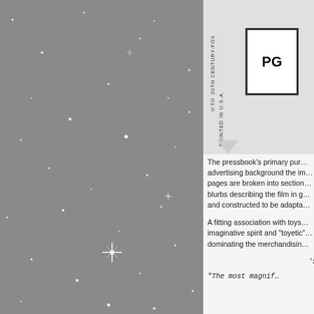[Figure (photo): Gray starfield background image with white star dots and sparkles on the left half of the page]
[Figure (photo): Top right panel showing partial view of a pressbook cover with vertical text '20th CENTURY-FOX' and 'PRINTED IN U.S.A.' and a PG rating box]
The pressbook's primary pur... advertising background the im... pages are broken into section... blurbs describing the film in g... and constructed to be adapta...
A fitting association with toys... imaginative spirit and "toyetic"... dominating the merchandisin...
'ST...
"The most magnif...